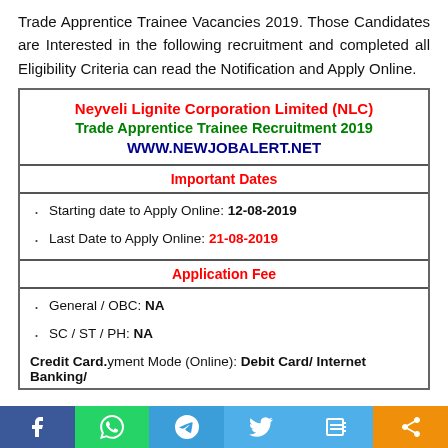Trade Apprentice Trainee Vacancies 2019. Those Candidates are Interested in the following recruitment and completed all Eligibility Criteria can read the Notification and Apply Online.
| Neyveli Lignite Corporation Limited (NLC) | Trade Apprentice Trainee Recruitment 2019 | WWW.NEWJOBALERT.NET |
| Important Dates |
| Starting date to Apply Online: 12-08-2019 |
| Last Date to Apply Online: 21-08-2019 |
| Application Fee |
| General / OBC: NA |
| SC / ST / PH: NA |
| Payment Mode (Online): Debit Card/ Internet Banking/ Credit Card. |